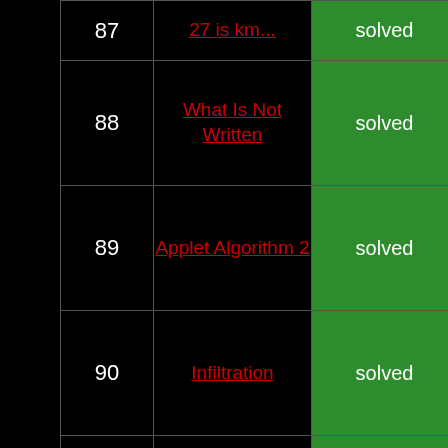| # | Problem | Status |
| --- | --- | --- |
| 87 | (partial, cut off) | solved |
| 88 | What Is Not Written | solved |
| 89 | Applet Algorithm 2 | solved |
| 90 | Infiltration | solved |
| 91 | Triple Xor | solved |